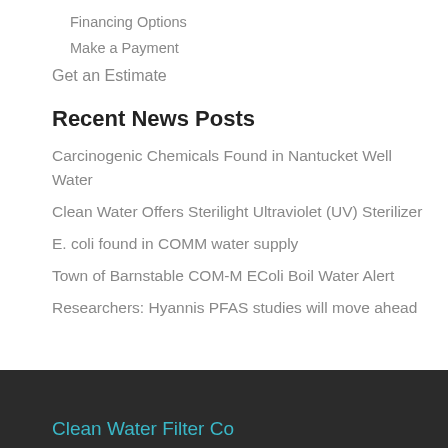Financing Options
Make a Payment
Get an Estimate
Recent News Posts
Carcinogenic Chemicals Found in Nantucket Well Water
Clean Water Offers Sterilight Ultraviolet (UV) Sterilizer
E. coli found in COMM water supply
Town of Barnstable COM-M EColi Boil Water Alert
Researchers: Hyannis PFAS studies will move ahead
Clean Water Filter Co